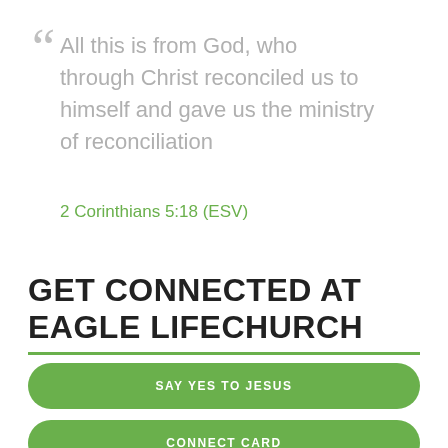“ All this is from God, who through Christ reconciled us to himself and gave us the ministry of reconciliation
2 Corinthians 5:18 (ESV)
GET CONNECTED AT EAGLE LIFECHURCH
SAY YES TO JESUS
CONNECT CARD